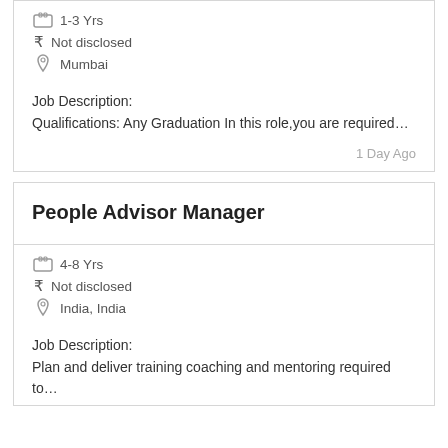1-3 Yrs
₹ Not disclosed
Mumbai
Job Description:
Qualifications: Any Graduation In this role,you are required…
1 Day Ago
People Advisor Manager
4-8 Yrs
₹ Not disclosed
India, India
Job Description:
Plan and deliver training coaching and mentoring required to…